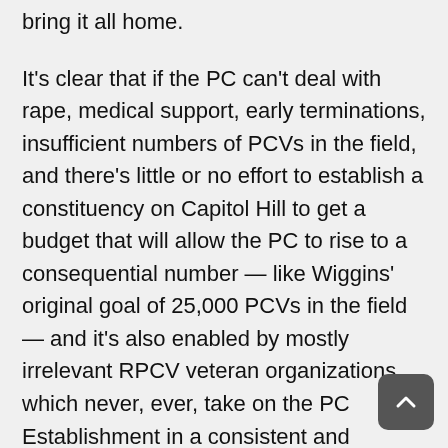bring it all home.
It's clear that if the PC can't deal with rape, medical support, early terminations, insufficient numbers of PCVs in the field, and there's little or no effort to establish a constituency on Capitol Hill to get a budget that will allow the PC to rise to a consequential number — like Wiggins' original goal of 25,000 PCVs in the field — and it's also enabled by mostly irrelevant RPCV veteran organizations which never, ever, take on the PC Establishment in a consistent and competent opposition, nothing will ever, ever change.